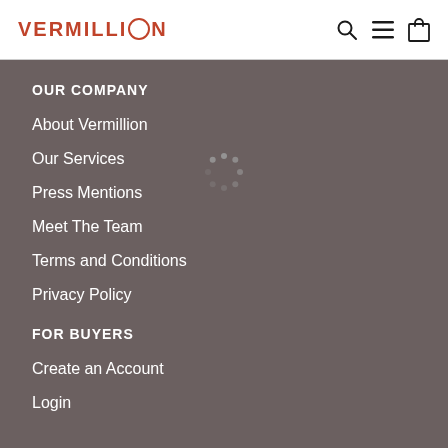VERMILLION
OUR COMPANY
About Vermillion
Our Services
Press Mentions
Meet The Team
Terms and Conditions
Privacy Policy
FOR BUYERS
Create an Account
Login